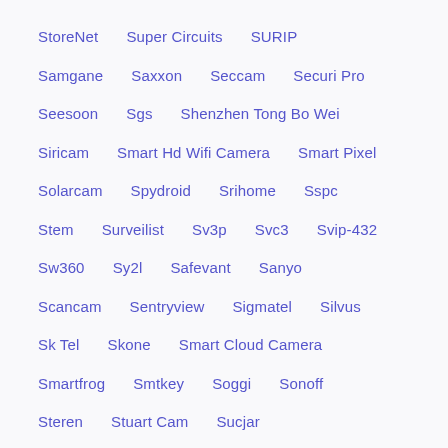StoreNet
Super Circuits
SURIP
Samgane
Saxxon
Seccam
Securi Pro
Seesoon
Sgs
Shenzhen Tong Bo Wei
Siricam
Smart Hd Wifi Camera
Smart Pixel
Solarcam
Spydroid
Srihome
Sspc
Stem
Surveilist
Sv3p
Svc3
Svip-432
Sw360
Sy2l
Safevant
Sanyo
Scancam
Sentryview
Sigmatel
Silvus
Sk Tel
Skone
Smart Cloud Camera
Smartfrog
Smtkey
Soggi
Sonoff
Steren
Stuart Cam
Sucjar